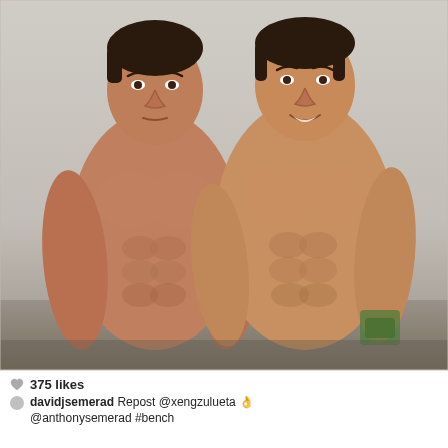[Figure (photo): Two shirtless muscular young men posing together in what appears to be an indoor setting. The man on the left has a neutral expression, the man on the right is smiling. Both are fit with visible muscle definition. Instagram-style photo with slightly warm tones.]
375 likes
davidjsemerad Repost @xengzulueta 👌 @anthonysemerad #bench